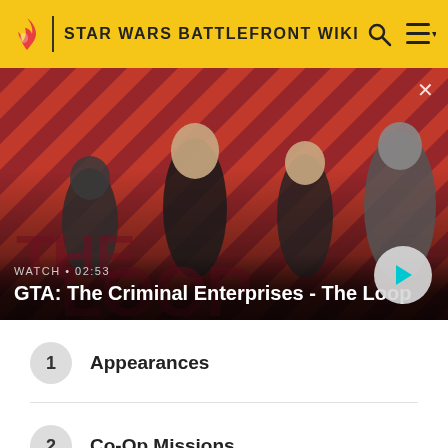STAR WARS BATTLEFRONT WIKI
[Figure (screenshot): GTA: The Criminal Enterprises - The Loop promotional video thumbnail with four characters on a red diagonal striped background. Shows WATCH • 02:53 label and a play button.]
1 Appearances
2 Co-Op Missions